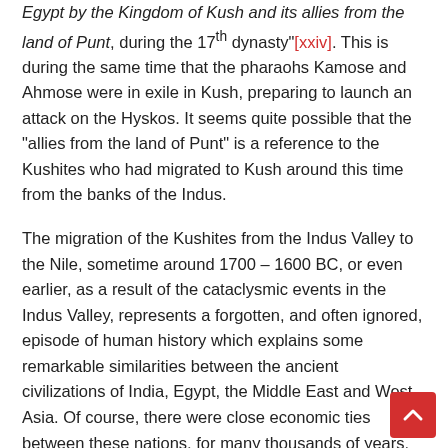Egypt by the Kingdom of Kush and its allies from the land of Punt, during the 17th dynasty"[xxiv]. This is during the same time that the pharaohs Kamose and Ahmose were in exile in Kush, preparing to launch an attack on the Hyskos. It seems quite possible that the "allies from the land of Punt" is a reference to the Kushites who had migrated to Kush around this time from the banks of the Indus.
The migration of the Kushites from the Indus Valley to the Nile, sometime around 1700 – 1600 BC, or even earlier, as a result of the cataclysmic events in the Indus Valley, represents a forgotten, and often ignored, episode of human history which explains some remarkable similarities between the ancient civilizations of India, Egypt, the Middle East and West Asia. Of course, there were close economic ties between these nations, for many thousands of years. However, the transfer of an entire pantheon of deities, along with